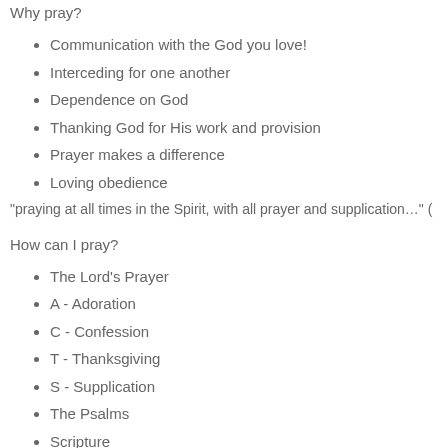Why pray?
Communication with the God you love!
Interceding for one another
Dependence on God
Thanking God for His work and provision
Prayer makes a difference
Loving obedience
“praying at all times in the Spirit, with all prayer and supplication…” (
How can I pray?
The Lord’s Prayer
A - Adoration
C - Confession
T - Thanksgiving
S - Supplication
The Psalms
Scripture
Prayer lists
Operation World